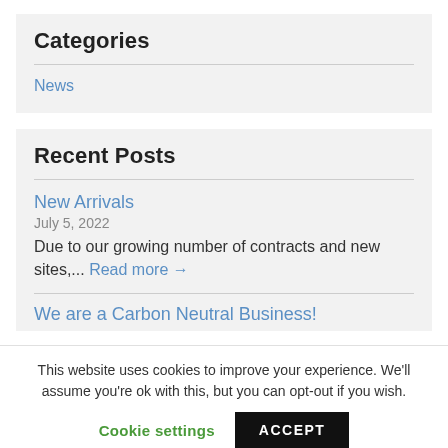Categories
News
Recent Posts
New Arrivals
July 5, 2022
Due to our growing number of contracts and new sites,... Read more →
We are a Carbon Neutral Business!
This website uses cookies to improve your experience. We'll assume you're ok with this, but you can opt-out if you wish.
Cookie settings  ACCEPT